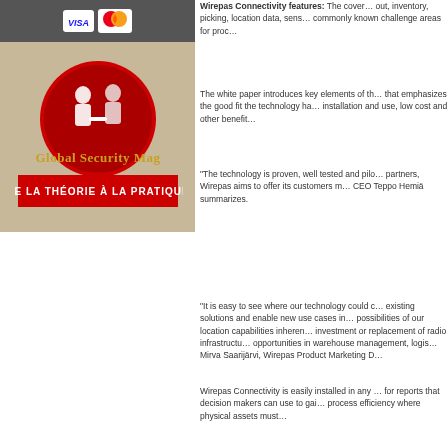[Figure (logo): Visa and Mastercard payment logos on dark grey background]
[Figure (logo): Global Security Mag logo with red circular emblem and tagline DE LA THÉORIE À LA PRATIQUE on beige background]
Wirepas Connectivity features: The cover... out, inventory, picking, location data, sens... commonly known challenge areas for proc...
The white paper introduces key elements of th... that emphasizes the good fit the technology ha... installation and use, low cost and other benefit...
"The technology is proven, well tested and pilo... partners, Wirepas aims to offer its customers m... CEO Teppo Hemiä summarizes.
"It is easy to see where our technology could c... existing solutions and enable new use cases in... possibilities of our location capabilities inheren... investment or replacement of radio infrastructu... opportunities in warehouse management, logis... Mirva Saarijärvi, Wirepas Product Marketing D...
Wirepas Connectivity is easily installed in any... for reports that decision makers can use to gai... process efficiency where physical assets must...